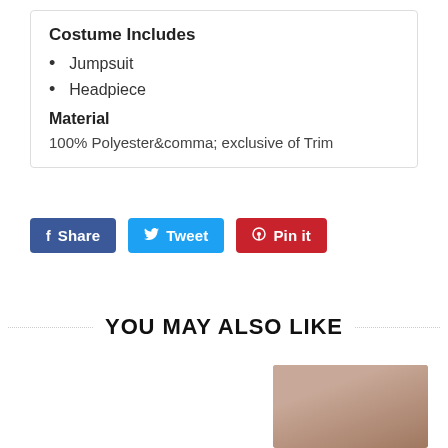Costume Includes
Jumpsuit
Headpiece
Material
100% Polyester&comma; exclusive of Trim
[Figure (infographic): Three social share buttons: Facebook Share (blue), Twitter Tweet (light blue), Pinterest Pin it (red)]
YOU MAY ALSO LIKE
[Figure (photo): Partially visible product image on right side, blurred brown/tan colored item]